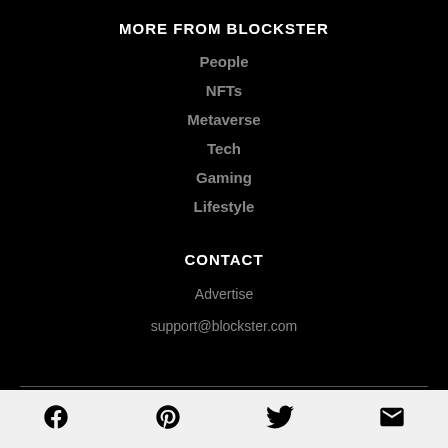MORE FROM BLOCKSTER
People
NFTs
Metaverse
Tech
Gaming
Lifestyle
CONTACT
Advertise
support@blockster.com
[Figure (infographic): Social media icons: Facebook, Pinterest, Twitter, Email in a light grey footer bar]